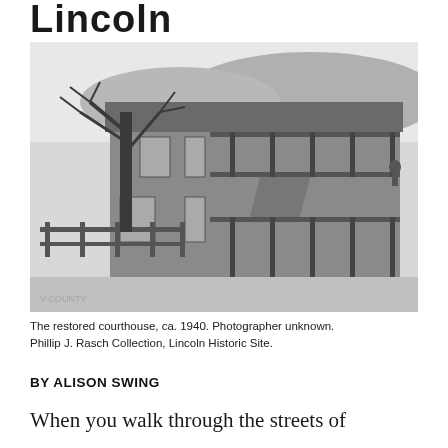Lincoln
[Figure (photo): Black and white photograph of the restored courthouse in Lincoln, ca. 1940, showing a two-story building with a porch and external staircase, a bare tree in front, and hills in the background. Photographer unknown.]
The restored courthouse, ca. 1940. Photographer unknown. Phillip J. Rasch Collection, Lincoln Historic Site.
BY ALISON SWING
When you walk through the streets of